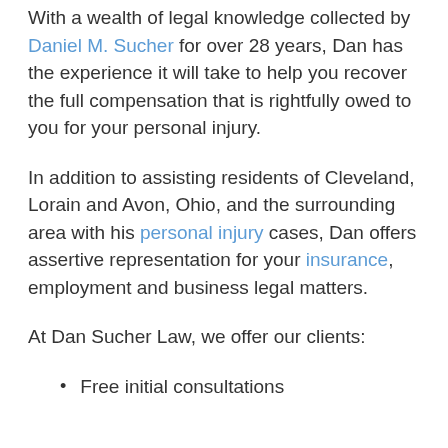With a wealth of legal knowledge collected by Daniel M. Sucher for over 28 years, Dan has the experience it will take to help you recover the full compensation that is rightfully owed to you for your personal injury.
In addition to assisting residents of Cleveland, Lorain and Avon, Ohio, and the surrounding area with his personal injury cases, Dan offers assertive representation for your insurance, employment and business legal matters.
At Dan Sucher Law, we offer our clients:
Free initial consultations